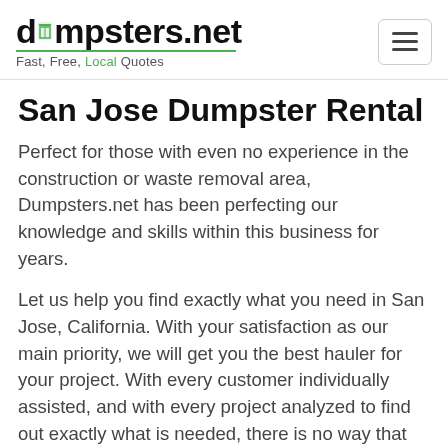dumpsters.net — Fast, Free, Local Quotes
San Jose Dumpster Rental
Perfect for those with even no experience in the construction or waste removal area, Dumpsters.net has been perfecting our knowledge and skills within this business for years.
Let us help you find exactly what you need in San Jose, California. With your satisfaction as our main priority, we will get you the best hauler for your project. With every customer individually assisted, and with every project analyzed to find out exactly what is needed, there is no way that you will walk away unsatisfied.